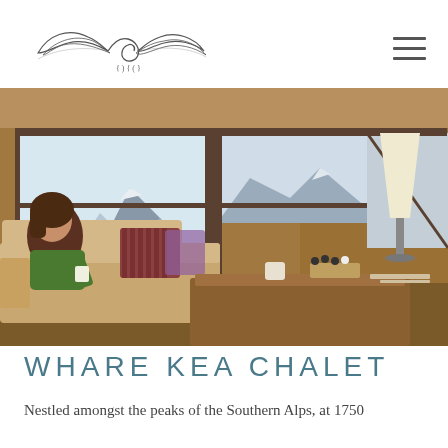[Whare Kea Lodge logo]
[Figure (photo): Interior of Whare Kea Chalet showing a woman in a green sweater sitting on a beige sofa holding a cup, with large panoramic windows overlooking snow-capped mountains of the Southern Alps. A lamp, coffee table with chess set, and wood-panelled walls are visible.]
WHARE KEA CHALET
Nestled amongst the peaks of the Southern Alps, at 1750